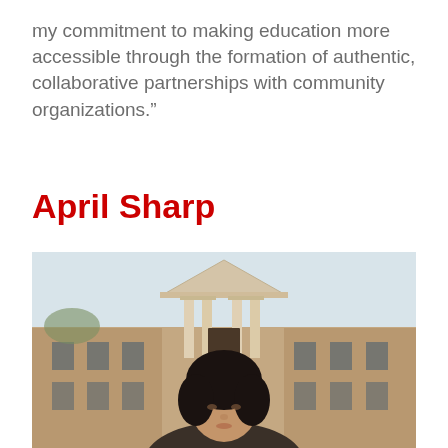my commitment to making education more accessible through the formation of authentic, collaborative partnerships with community organizations."
April Sharp
[Figure (photo): Portrait photo of April Sharp standing outdoors in front of a brick building with a classical portico entrance, blurred in the background. She has dark hair and is visible from roughly the shoulders up.]